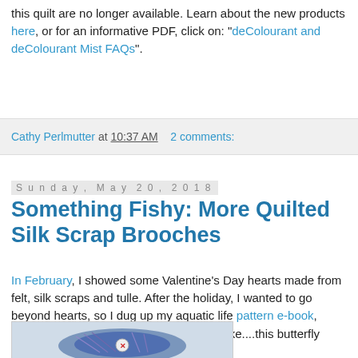this quilt are no longer available. Learn about the new products here, or for an informative PDF, click on: "deColourant and deColourant Mist FAQs".
Cathy Perlmutter at 10:37 AM   2 comments:
Sunday, May 20, 2018
Something Fishy: More Quilted Silk Scrap Brooches
In February, I showed some Valentine's Day hearts made from felt, silk scraps and tulle. After the holiday, I wanted to go beyond hearts, so I dug up my aquatic life pattern e-book, printed out shapes, and used them to make....this butterfly fish...
[Figure (photo): A quilted silk scrap brooch in the shape of a butterfly fish, with blue, purple and metallic colors, and a red X button in the center.]